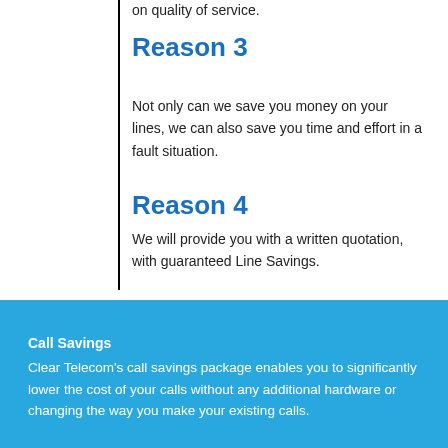on quality of service.
Reason 3
Not only can we save you money on your lines, we can also save you time and effort in a fault situation.
Reason 4
We will provide you with a written quotation, with guaranteed Line Savings.
Call Savings
Clear Telecom's call savings package enables you to significantly lower the cost of your calls without any additional hardware or changing the way you make your existing calls.